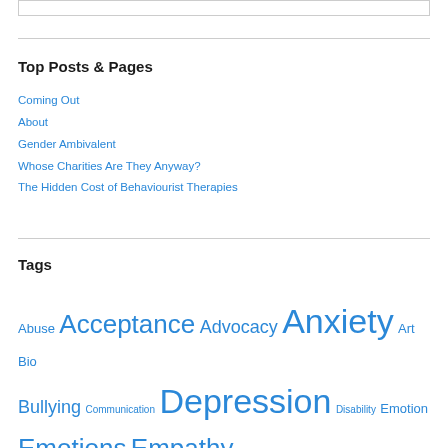Top Posts & Pages
Coming Out
About
Gender Ambivalent
Whose Charities Are They Anyway?
The Hidden Cost of Behaviourist Therapies
Tags
Abuse Acceptance Advocacy Anxiety Art Bio Bullying Communication Depression Disability Emotion Emotions Empathy Friends Friendship Gender Happiness